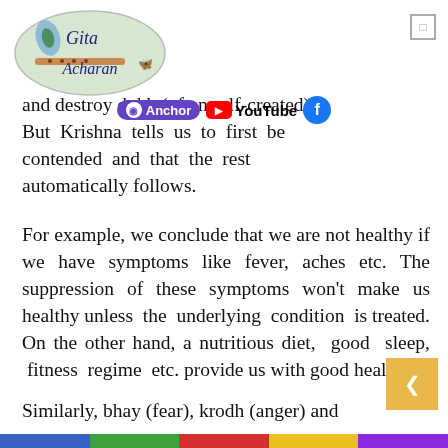[Figure (logo): Gita Acharan logo — oval shaped badge with peacock feather and flute, text 'Gita Acharan' in cursive script]
[Figure (infographic): Social media icons: Anchor podcast badge (purple), YouTube badge (red), Facebook icon (blue)]
and destroy dukh (often self-created). But Krishna tells us to first be contended and that the rest automatically follows.
For example, we conclude that we are not healthy if we have symptoms like fever, aches etc. The suppression of these symptoms won't make us healthy unless the underlying condition is treated. On the other hand, a nutritious diet, good sleep, fitness regime etc. provide us with good health.
Similarly, bhay (fear), krodh (anger) and